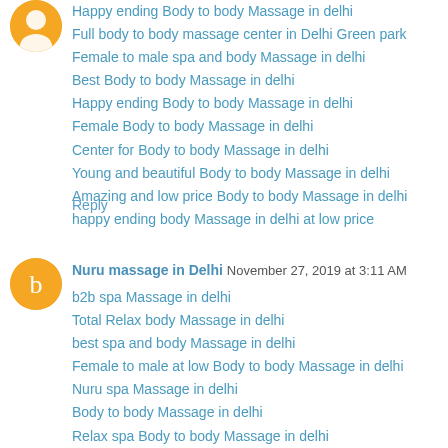Happy ending Body to body Massage in delhi
Full body to body massage center in Delhi Green park
Female to male spa and body Massage in delhi
Best Body to body Massage in delhi
Happy ending Body to body Massage in delhi
Female Body to body Massage in delhi
Center for Body to body Massage in delhi
Young and beautiful Body to body Massage in delhi
Amazing and low price Body to body Massage in delhi
happy ending body Massage in delhi at low price
Reply
Nuru massage in Delhi  November 27, 2019 at 3:11 AM
b2b spa Massage in delhi
Total Relax body Massage in delhi
best spa and body Massage in delhi
Female to male at low Body to body Massage in delhi
Nuru spa Massage in delhi
Body to body Massage in delhi
Relax spa Body to body Massage in delhi
Ultimate spa in Delhi